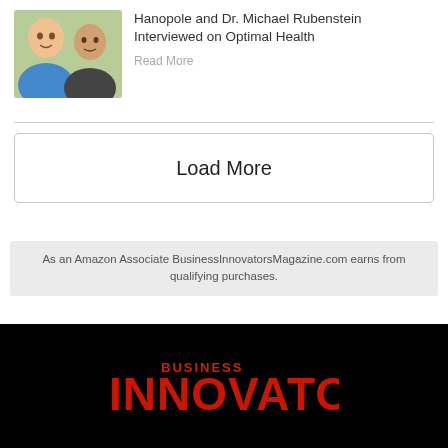Hanopole and Dr. Michael Rubenstein Interviewed on Optimal Health
Read More
Load More
As an Amazon Associate BusinessInnovatorsMagazine.com earns from qualifying purchases.
[Figure (logo): Business Innovators logo in red text on black background]